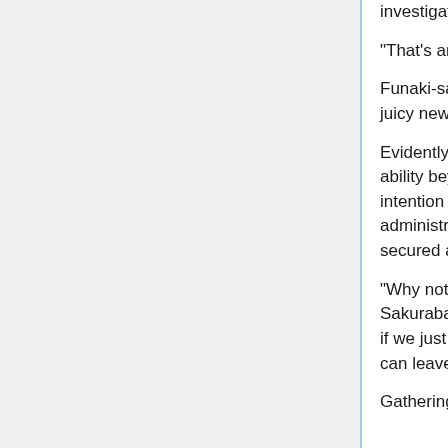investigation in my notebook later."
"That's amazing. You're such a great help."
Funaki-san was a lively girl who loved gossip and juicy news.
Evidently, she possessed initiative and investigative ability beyond Hal's expectations. Although his original intention was merely to hire her to handle administrative matters, Hal had unintentionally secured a talented individual.
"Why not have her go with the UFO Research Club's Sakuraba-senpai to search for Galad together? I think if we just obtain some slightly more precise intel, we can leave the rest to the police..." Hal muttered.
Gathering information about dragonkind,